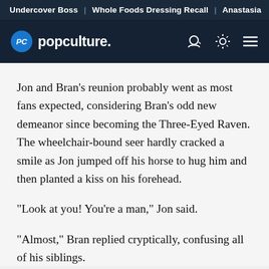Undercover Boss | Whole Foods Dressing Recall | Anastasia
[Figure (logo): PopCulture logo with navigation bar on dark navy background]
Jon and Bran's reunion probably went as most fans expected, considering Bran's odd new demeanor since becoming the Three-Eyed Raven. The wheelchair-bound seer hardly cracked a smile as Jon jumped off his horse to hug him and then planted a kiss on his forehead.
"Look at you! You're a man," Jon said.
"Almost," Bran replied cryptically, confusing all of his siblings.
Foreshadowing content continues...